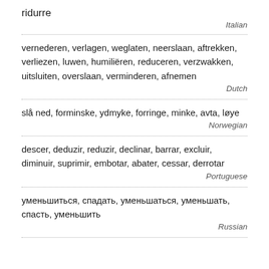ridurre
Italian
vernederen, verlagen, weglaten, neerslaan, aftrekken, verliezen, luwen, humiliëren, reduceren, verzwakken, uitsluiten, overslaan, verminderen, afnemen
Dutch
slå ned, forminske, ydmyke, forringe, minke, avta, løye
Norwegian
descer, deduzir, reduzir, declinar, barrar, excluir, diminuir, suprimir, embotar, abater, cessar, derrotar
Portuguese
уменьшиться, спадать, уменьшаться, уменьшать, спасть, уменьшить
Russian